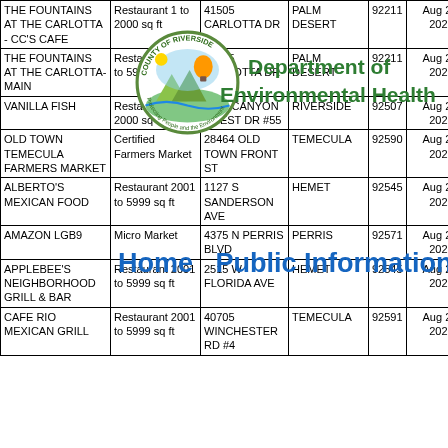| Name | Type | Address | City | Zip | Date |
| --- | --- | --- | --- | --- | --- |
| THE FOUNTAINS AT THE CARLOTTA - CC'S CAFE | Restaurant 1 to 2000 sq ft | 41505 CARLOTTA DR | PALM DESERT | 92211 | Aug 29, 2022 |
| THE FOUNTAINS AT THE CARLOTTA- MAIN | Restaurant 2001 to 5999 sq ft | 41505 CARLOTTA DR | PALM DESERT | 92211 | Aug 29, 2022 |
| VANILLA FISH | Restaurant 1 to 2000 sq ft | 5225 CANYON CREST DR #55 | RIVERSIDE | 92507 | Aug 29, 2022 |
| OLD TOWN TEMECULA FARMERS MARKET | Certified Farmers Market | 28464 OLD TOWN FRONT ST | TEMECULA | 92590 | Aug 27, 2022 |
| ALBERTO'S MEXICAN FOOD | Restaurant 2001 to 5999 sq ft | 1127 S SANDERSON AVE | HEMET | 92545 | Aug 26, 2022 |
| AMAZON LGB9 | Micro Market | 4375 N PERRIS BLVD | PERRIS | 92571 | Aug 26, 2022 |
| APPLEBEE'S NEIGHBORHOOD GRILL & BAR | Restaurant 2001 to 5999 sq ft | 2515 W FLORIDA AVE | HEMET | 92545 | Aug 26, 2022 |
| CAFE RIO MEXICAN GRILL | Restaurant 2001 to 5999 sq ft | 40705 WINCHESTER RD #4 | TEMECULA | 92591 | Aug 26, 2022 |